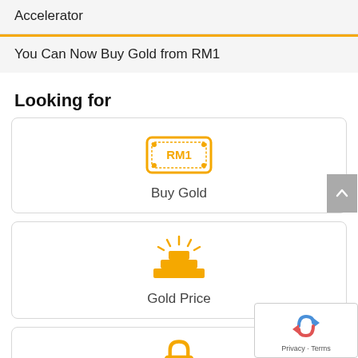Accelerator
You Can Now Buy Gold from RM1
Looking for
[Figure (illustration): Gold buy icon: a banknote graphic with RM1 text in golden color]
Buy Gold
[Figure (illustration): Gold price icon: stacked gold bars with shining rays in golden color]
Gold Price
[Figure (illustration): Lock icon in golden color, partially visible at bottom]